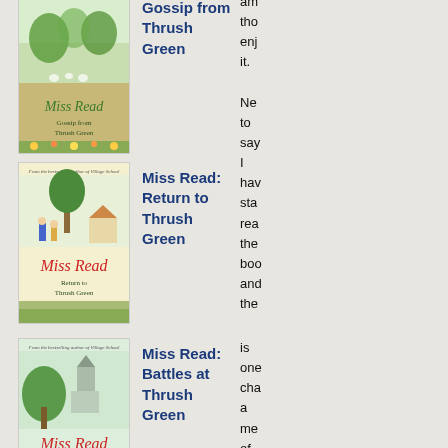[Figure (illustration): Book cover: Miss Read - Gossip from Thrush Green, illustrated cover with green and floral design]
Gossip from Thrush Green
am tho enj it. Ne to say I hav sta rea the boo and the
[Figure (illustration): Book cover: Miss Read - Return to Thrush Green, illustrated cover with yellow background and children]
Miss Read: Return to Thrush Green
[Figure (illustration): Book cover: Miss Read - Battles at Thrush Green, illustrated cover with green and church]
Miss Read: Battles at Thrush Green
is one cha a me of Pa wh